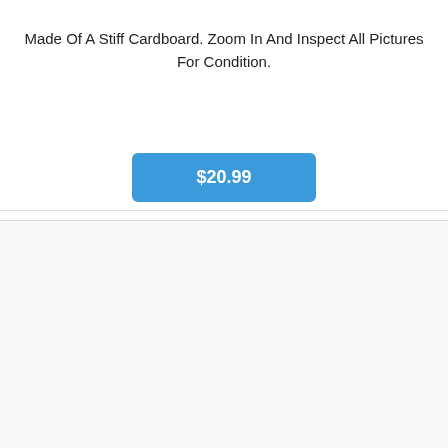Made Of A Stiff Cardboard. Zoom In And Inspect All Pictures For Condition.
[Figure (other): Blue rectangular price button showing $20.99]